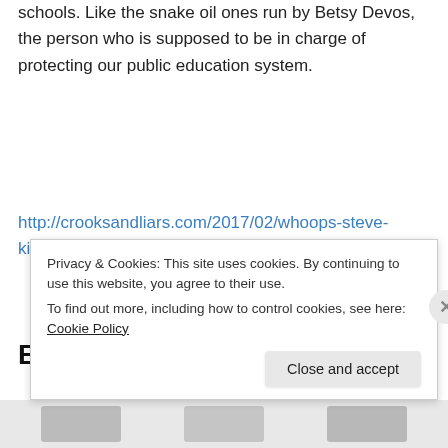schools. Like the snake oil ones run by Betsy Devos, the person who is supposed to be in charge of protecting our public education system.
http://crooksandliars.com/2017/02/whoops-steve-kings-abolish-education
Eff Off, World
Privacy & Cookies: This site uses cookies. By continuing to use this website, you agree to their use.
To find out more, including how to control cookies, see here: Cookie Policy